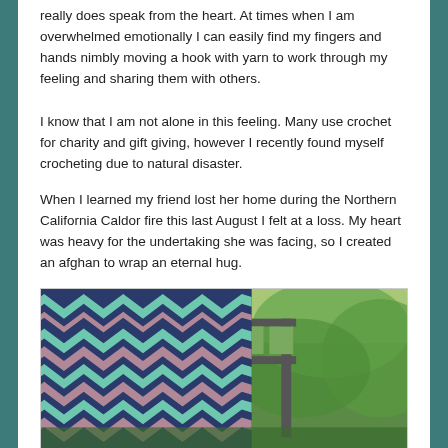really does speak from the heart. At times when I am overwhelmed emotionally I can easily find my fingers and hands nimbly moving a hook with yarn to work through my feeling and sharing them with others.
I know that I am not alone in this feeling. Many use crochet for charity and gift giving, however I recently found myself crocheting due to natural disaster.
When I learned my friend lost her home during the Northern California Caldor fire this last August I felt at a loss. My heart was heavy for the undertaking she was facing, so I created an afghan to wrap an eternal hug.
[Figure (photo): Photo of a crocheted chevron/zigzag pattern afghan in navy, teal/mint, and mauve/pink colors draped over a dark metal chair outdoors with green shrubs/trees in the background.]